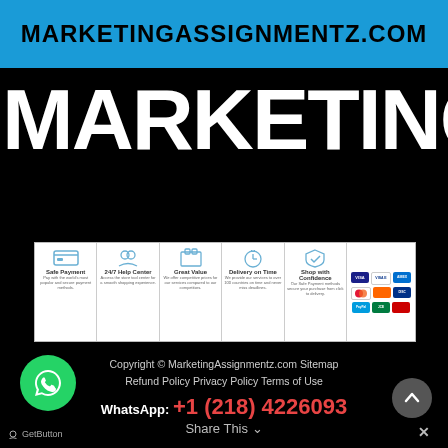MARKETINGASSIGNMENTZ.COM
MARKETINGASS
[Figure (infographic): Trust badges strip showing: Safe Payment, 24/7 Help Center, Great Value, Delivery on Time, Shop with Confidence, and payment method icons (Visa, Mastercard, PayPal, etc.)]
Copyright © MarketingAssignmentz.com Sitemap Refund Policy Privacy Policy Terms of Use
WhatsApp: +1 (218) 4226093
[Figure (logo): WhatsApp green circle button with phone icon]
GetButton
Share This ∨
[Figure (other): Dark grey circle up-arrow scroll-to-top button]